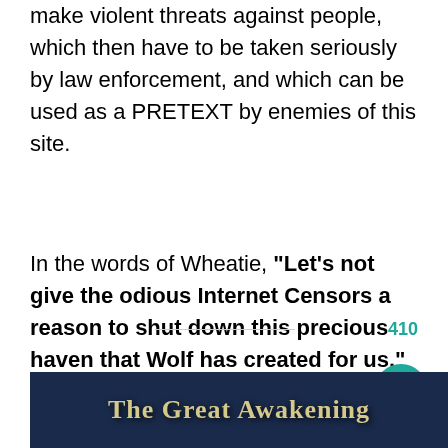make violent threats against people, which then have to be taken seriously by law enforcement, and which can be used as a PRETEXT by enemies of this site.
In the words of Wheatie, “Let’s not give the odious Internet Censors a reason to shut down this precious haven that Wolf has created for us.”
410
[Figure (illustration): Dark blue banner with stylized text reading 'The Great Awakening']